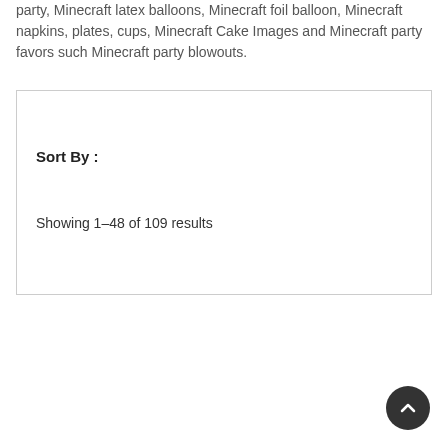party, Minecraft latex balloons, Minecraft foil balloon, Minecraft napkins, plates, cups, Minecraft Cake Images and Minecraft party favors such Minecraft party blowouts.
Sort By :
Showing 1-48 of 109 results